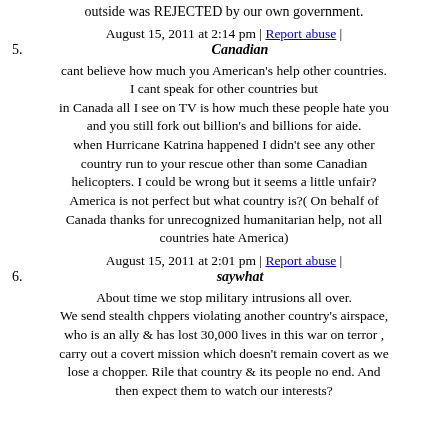outside was REJECTED by our own government.
August 15, 2011 at 2:14 pm | Report abuse |
5. Canadian
cant believe how much you American's help other countries. I cant speak for other countries but in Canada all I see on TV is how much these people hate you and you still fork out billion's and billions for aide. when Hurricane Katrina happened I didn't see any other country run to your rescue other than some Canadian helicopters. I could be wrong but it seems a little unfair? America is not perfect but what country is?( On behalf of Canada thanks for unrecognized humanitarian help, not all countries hate America)
August 15, 2011 at 2:01 pm | Report abuse |
6. saywhat
About time we stop military intrusions all over. We send stealth chppers violating another country's airspace, who is an ally & has lost 30,000 lives in this war on terror , carry out a covert mission which doesn't remain covert as we lose a chopper. Rile that country & its people no end. And then expect them to watch our interests?